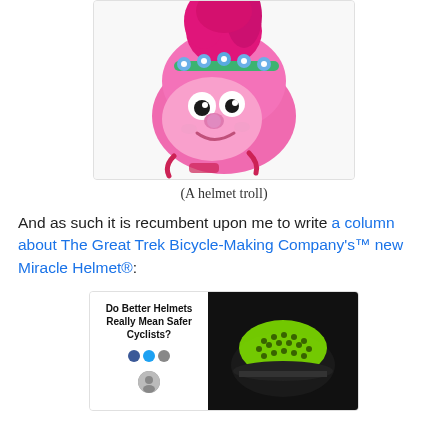[Figure (photo): A pink Trolls-themed bicycle helmet with a cartoon face (Poppy character), pink hair on top, blue flower crown, and pink chin straps.]
(A helmet troll)
And as such it is recumbent upon me to write a column about The Great Trek Bicycle-Making Company's™ new Miracle Helmet®:
[Figure (screenshot): Screenshot showing an article titled 'Do Better Helmets Really Mean Safer Cyclists?' with social media icons and an author avatar on the left, and a dark image of a green spiky bicycle helmet on a black background on the right.]